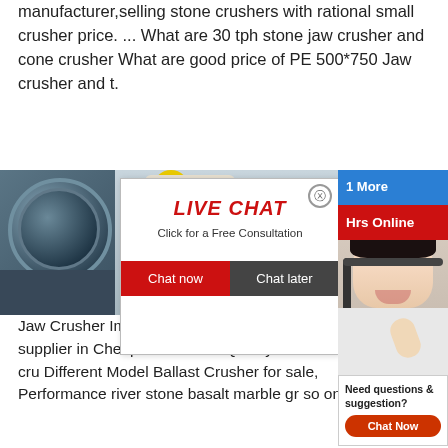manufacturer,selling stone crushers with rational small crusher price. ... What are 30 tph stone jaw crusher and cone crusher What are good price of PE 500*750 Jaw crusher and t.
[Figure (photo): Industrial mill machinery on left, workers in yellow helmets/hard hats in center-right background]
[Figure (screenshot): Live Chat popup overlay with red LIVE CHAT heading, 'Click for a Free Consultation' text, Chat now and Chat later buttons]
[Figure (photo): Sidebar showing blue panel with '1 More' text, red panel with 'Hrs Online', female customer service agent with headset]
Jaw Crusher Impact Crusher manufacturer / supplier in Cheap Price Good Quality small rock cru Different Model Ballast Crusher for sale, Performance river stone basalt marble gr so on.
[Figure (screenshot): Sidebar panel: 'Need questions & suggestion?' with orange Chat Now button]